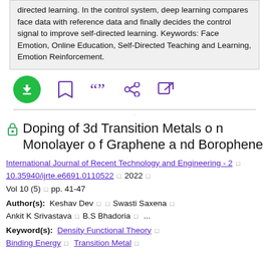directed learning. In the control system, deep learning compares face data with reference data and finally decides the control signal to improve self-directed learning. Keywords: Face Emotion, Online Education, Self-Directed Teaching and Learning, Emotion Reinforcement.
[Figure (infographic): Action bar with download button (green circle with down arrow), bookmark icon, quote icon, share icon, and external link icon]
Doping of 3d Transition Metals o n Monolayer o f Graphene a nd Borophene
International Journal of Recent Technology and Engineering - 2 □  10.35940/ijrte.e6691.0110522 □  2022 □  Vol 10 (5)  □  pp. 41-47
Author(s):  Keshav Dev □  □  Swasti Saxena □  Ankit K Srivastava □  B.S Bhadoria □  ...
Keyword(s):  Density Functional Theory □  Binding Energy □  Transition Metal □